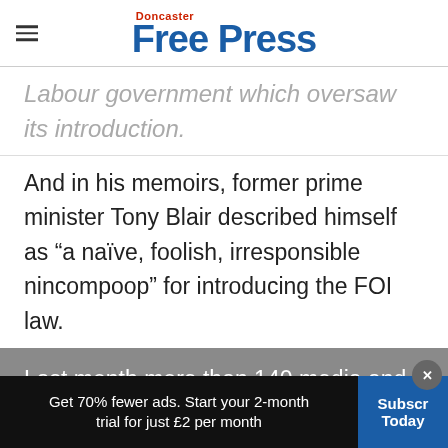Doncaster Free Press
Labour government which oversaw its introduction.
And in his memoirs, former prime minister Tony Blair described himself as “a naïve, foolish, irresponsible nincompoop” for introducing the FOI law.
Last month more than 140 media and campaigning organisations – including
Get 70% fewer ads. Start your 2-month trial for just £2 per month
Subscribe Today